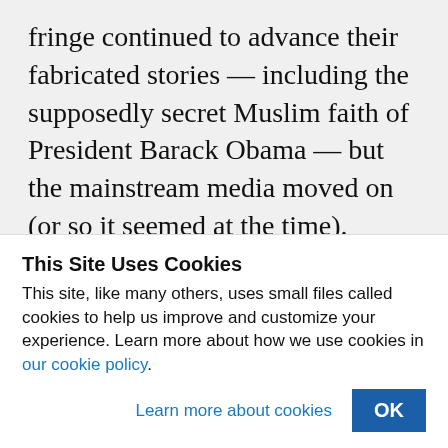fringe continued to advance their fabricated stories — including the supposedly secret Muslim faith of President Barack Obama — but the mainstream media moved on (or so it seemed at the time).
As it turned out, Islamophobia did anything but disappear. In 2015, hate crimes against Muslims in the United States increased by
This Site Uses Cookies
This site, like many others, uses small files called cookies to help us improve and customize your experience. Learn more about how we use cookies in our cookie policy.